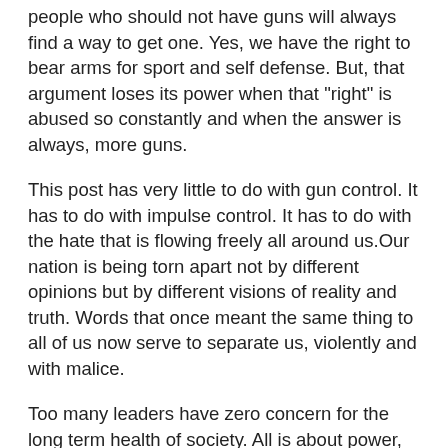people who should not have guns will always find a way to get one. Yes, we have the right to bear arms for sport and self defense. But, that argument loses its power when that "right" is abused so constantly and when the answer is always, more guns.
This post has very little to do with gun control. It has to do with impulse control. It has to do with the hate that is flowing freely all around us.Our nation is being torn apart not by different opinions but by different visions of reality and truth. Words that once meant the same thing to all of us now serve to separate us, violently and with malice.
Too many leaders have zero concern for the long term health of society. All is about power, ego and image, the next election or next political "win." The ultimate short game is only appealing if there are winners and losers...for some even losing isn't enough..it must be elimination.
We are becoming an of an out-of-control, self-absorbed and delusional, reality-deficient society. Every single one of us is just a moment away from becoming another statistic for no other reason than being at the wrong place at the wrong